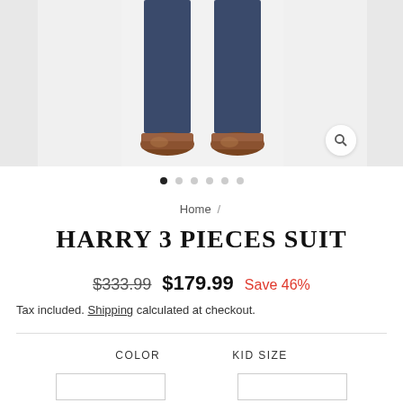[Figure (photo): Lower half of a person wearing navy suit trousers and brown leather oxford shoes, shown against a light grey/white background. Product image for a 3-piece suit.]
Home /
HARRY 3 PIECES SUIT
$333.99  $179.99  Save 46%
Tax included. Shipping calculated at checkout.
COLOR
KID SIZE